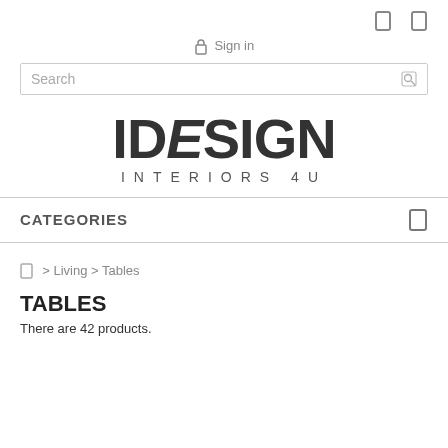[ icon ] [ icon ]
Sign in
Search
[Figure (logo): IDESIGN INTERIORS 4U logo in large bold stylized uppercase letters]
CATEGORIES
[ ] > Living > Tables
TABLES
There are 42 products.